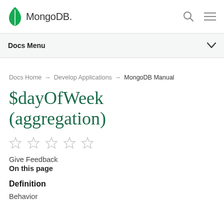MongoDB  Docs Menu
Docs Home → Develop Applications → MongoDB Manual
$dayOfWeek (aggregation)
[Figure (other): Five empty star rating icons]
Give Feedback
On this page
Definition
Behavior